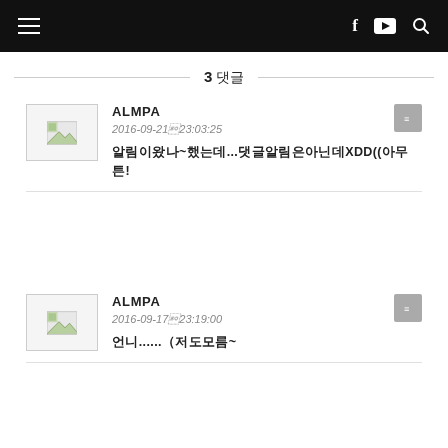Navigation bar with hamburger menu, Facebook, YouTube, and search icons
3 댓글
ALMPA
2016-09-21 23:03:25
알림이왔나~했는데....댓글알림은아닌데XDD((아무튼!
ALMPA
2016-09-17 23:19:00
언니.....（저도모름~